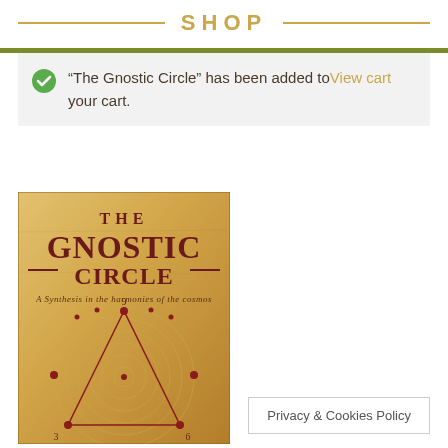SHOP
“The Gnostic Circle” has been added to your cart. View cart
[Figure (illustration): Book cover of 'The Gnostic Circle: A Synthesis in the harmonies of the cosmos' with golden/amber background featuring circular geometric diagram with triangle, dots, and numbers 9, 3, 6]
Privacy & Cookies Policy